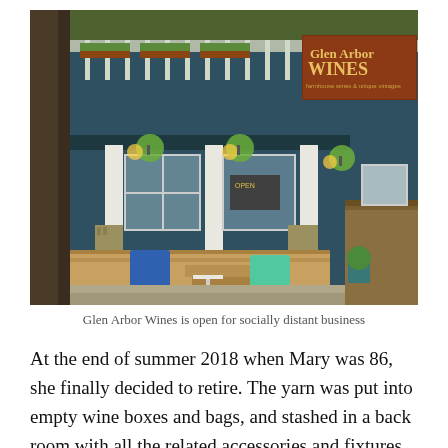[Figure (photo): Exterior photo of Glen Arbor Wines shop, a blue building with white railings on upper deck, hanging flower baskets, large windows, stone pillars, wooden deck stairs, and outdoor Adirondack chairs in blue and teal on gravel area. A sign reads 'Glen Arbor Wines'.]
Glen Arbor Wines is open for socially distant business
At the end of summer 2018 when Mary was 86, she finally decided to retire. The yarn was put into empty wine boxes and bags, and stashed in a back room with all the related accessories and fixtures. Lissa figured she would have to sell the yarn on EBay, but did not have time with her full time job as editor of Traverse